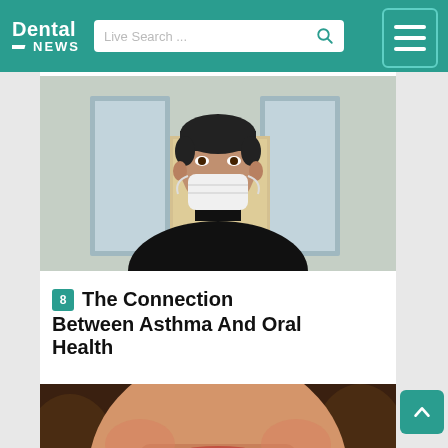Dental News
[Figure (photo): Man wearing a white face mask, dressed in a black coat, standing outdoors in front of glass doors]
8 The Connection Between Asthma And Oral Health
[Figure (photo): Close-up of a woman with curly hair smiling broadly, showing white teeth]